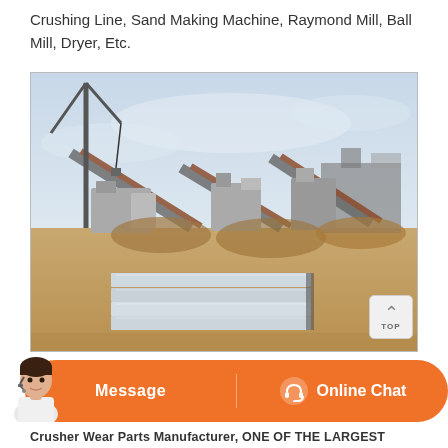Crushing Line, Sand Making Machine, Raymond Mill, Ball Mill, Dryer, Etc.
[Figure (photo): Outdoor industrial crushing/mining plant site with conveyor belts, heavy machinery, a crane visible on the left, and metal sheeting on the ground. Hazy sky in the background.]
[Figure (photo): UI element: Orange rounded bar with 'Message' button on the left and 'Online Chat' button with headset icon on the right, with a customer service agent photo overlapping from the bottom-left.]
Crusher Wear Parts Manufacturer, ONE OF THE LARGEST